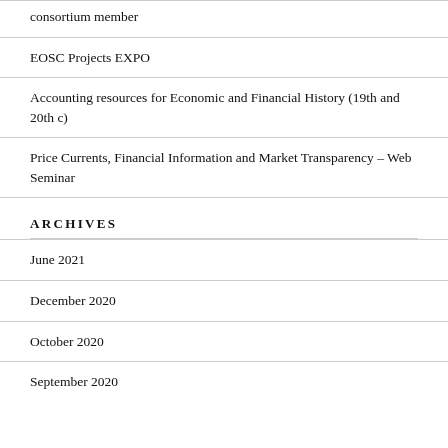consortium member
EOSC Projects EXPO
Accounting resources for Economic and Financial History (19th and 20th c)
Price Currents, Financial Information and Market Transparency – Web Seminar
ARCHIVES
June 2021
December 2020
October 2020
September 2020